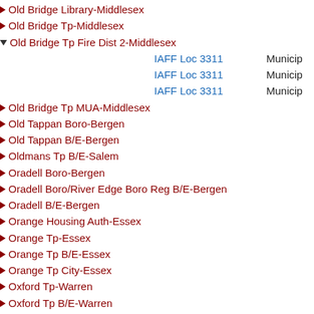Old Bridge Library-Middlesex
Old Bridge Tp-Middlesex
Old Bridge Tp Fire Dist 2-Middlesex
IAFF Loc 3311   Municip
IAFF Loc 3311   Municip
IAFF Loc 3311   Municip
Old Bridge Tp MUA-Middlesex
Old Tappan Boro-Bergen
Old Tappan B/E-Bergen
Oldmans Tp B/E-Salem
Oradell Boro-Bergen
Oradell Boro/River Edge Boro Reg B/E-Bergen
Oradell B/E-Bergen
Orange Housing Auth-Essex
Orange Tp-Essex
Orange Tp B/E-Essex
Orange Tp City-Essex
Oxford Tp-Warren
Oxford Tp B/E-Warren
Palisades Park Boro-Bergen
Palisades Park B/E-Bergen